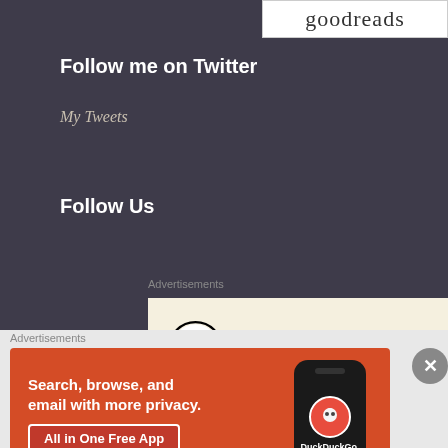[Figure (logo): Goodreads logo in white box, top right]
Follow me on Twitter
My Tweets
Follow Us
Advertisements
[Figure (logo): WordPress logo in beige advertisement box]
Advertisements
[Figure (screenshot): DuckDuckGo advertisement: Search, browse, and email with more privacy. All in One Free App. Shows DuckDuckGo phone app.]